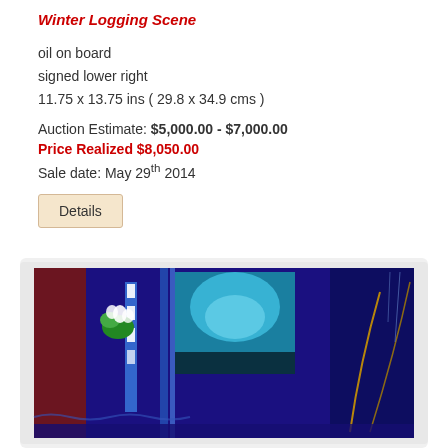Winter Logging Scene
oil on board
signed lower right
11.75 x 13.75 ins ( 29.8 x 34.9 cms )
Auction Estimate: $5,000.00 - $7,000.00
Price Realized $8,050.00
Sale date: May 29th 2014
[Figure (photo): Artwork image showing an abstract or colorful painting with blue tones, dark navy and royal blue background, teal/aqua central panel, red and dark brown vertical elements on sides, green and white floral or figure element on left side, and curved golden/brown lines on the right.]